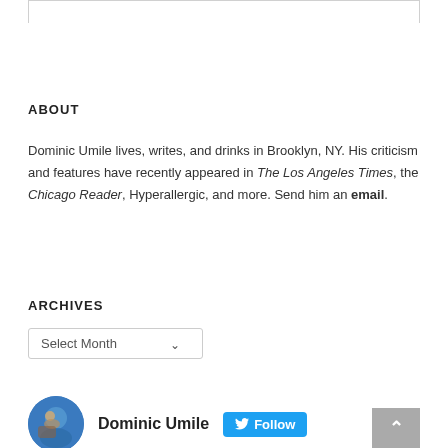ABOUT
Dominic Umile lives, writes, and drinks in Brooklyn, NY. His criticism and features have recently appeared in The Los Angeles Times, the Chicago Reader, Hyperallergic, and more. Send him an email.
ARCHIVES
Select Month
[Figure (other): Twitter follow widget showing avatar photo of Dominic Umile, name 'Dominic Umile', and a blue Follow button with Twitter bird icon]